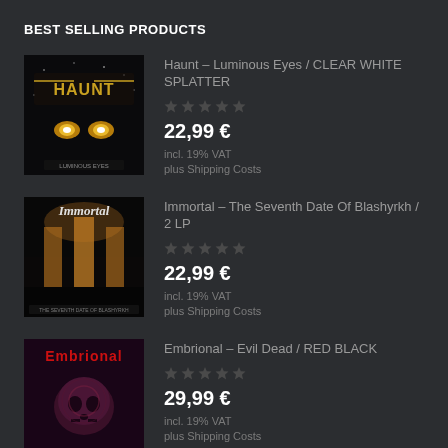BEST SELLING PRODUCTS
[Figure (photo): Album cover for Haunt - Luminous Eyes, dark background with glowing eyes]
Haunt – Luminous Eyes / CLEAR WHITE SPLATTER
22,99 €
incl. 19% VAT
plus Shipping Costs
[Figure (photo): Album cover for Immortal – The Seventh Date Of Blashyrkh / 2 LP]
Immortal – The Seventh Date Of Blashyrkh / 2 LP
22,99 €
incl. 19% VAT
plus Shipping Costs
[Figure (photo): Album cover for Embrional – Evil Dead / RED BLACK, dark with skull imagery]
Embrional – Evil Dead / RED BLACK
29,99 €
incl. 19% VAT
plus Shipping Costs